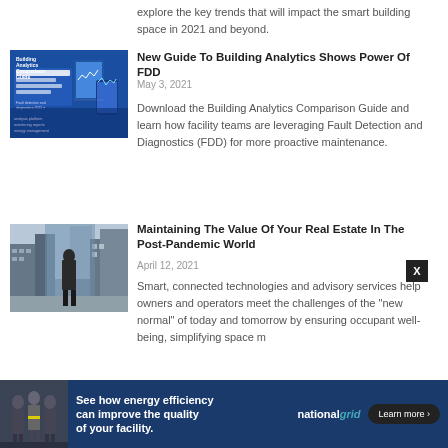explore the key trends that will impact the smart building space in 2021 and beyond.
[Figure (photo): Building Analytics Comparison Guide book cover with blue background showing tablet and phone]
New Guide To Building Analytics Shows Power Of FDD
May 3, 2021
Download the Building Analytics Comparison Guide and learn how facility teams are leveraging Fault Detection and Diagnostics (FDD) for more proactive maintenance.
[Figure (photo): Person in suit standing in front of large windows in a modern building]
Maintaining The Value Of Your Real Estate In The Post-Pandemic World
April 12, 2021
Smart, connected technologies and advisory services help owners and operators meet the challenges of the "new normal" of today and tomorrow by ensuring occupant well-being, simplifying space management, and...
[Figure (infographic): National Grid advertisement banner: See how energy efficiency can improve the quality of your facility. Learn more.]